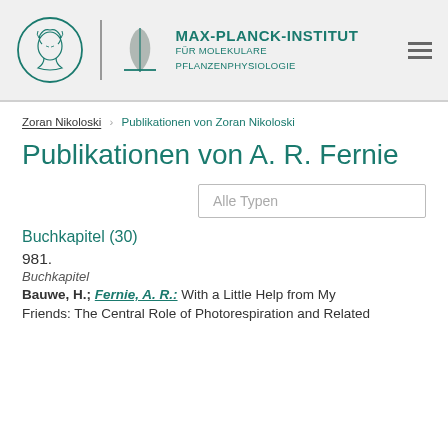[Figure (logo): Max-Planck-Institut für Molekulare Pflanzenphysiologie logo with Minerva head in circle, leaf/plant graphic, institute name, and hamburger menu icon]
Zoran Nikoloski   Publikationen von Zoran Nikoloski
Publikationen von A. R. Fernie
Alle Typen
Buchkapitel (30)
981.
Buchkapitel
Bauwe, H.; Fernie, A. R.: With a Little Help from My Friends: The Central Role of Photorespiration and Related